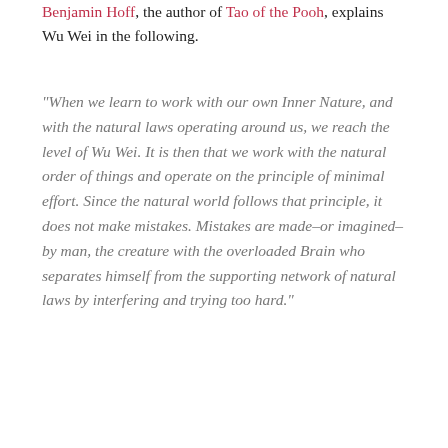Benjamin Hoff, the author of Tao of the Pooh, explains Wu Wei in the following.
“When we learn to work with our own Inner Nature, and with the natural laws operating around us, we reach the level of Wu Wei. It is then that we work with the natural order of things and operate on the principle of minimal effort. Since the natural world follows that principle, it does not make mistakes. Mistakes are made–or imagined–by man, the creature with the overloaded Brain who separates himself from the supporting network of natural laws by interfering and trying too hard.”